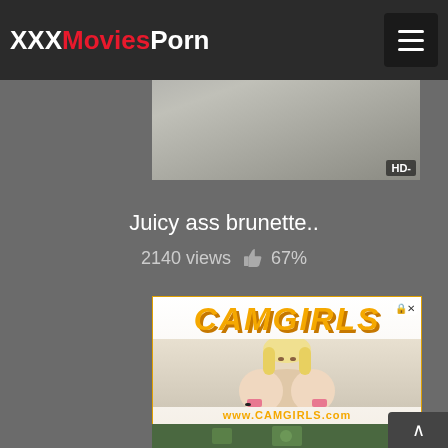XXXMoviesPorn
[Figure (screenshot): Video thumbnail showing partial content, dark background, with HD badge in lower right corner]
Juicy ass brunette..
2140 views 👍 67%
[Figure (advertisement): CamGirls advertisement banner with orange logo text CAMGIRLS, image of blonde woman, and url www.camgirls.com]
[Figure (screenshot): Partial thumbnail of next video with green/nature background]